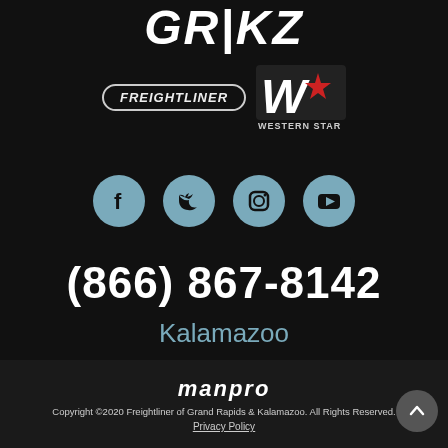[Figure (logo): GR|KZ brand logo with Freightliner and Western Star logos]
[Figure (infographic): Four social media icon circles: Facebook, Twitter, Instagram, YouTube]
(866) 867-8142
Kalamazoo
[Figure (logo): manpro logo in italic white text]
Copyright ©2020 Freightliner of Grand Rapids & Kalamazoo. All Rights Reserved.
Privacy Policy